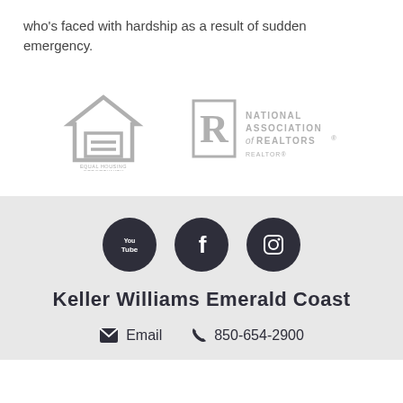who's faced with hardship as a result of sudden emergency.
[Figure (logo): Equal Housing Opportunity logo - house with equal sign]
[Figure (logo): National Association of Realtors logo with R mark and text]
[Figure (logo): YouTube, Facebook, and Instagram social media icons in dark circles]
Keller Williams Emerald Coast
Email  850-654-2900